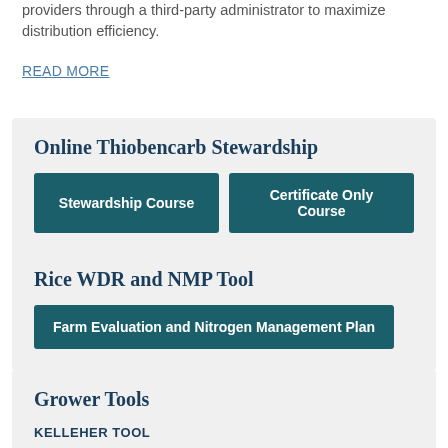providers through a third-party administrator to maximize distribution efficiency.
READ MORE
Online Thiobencarb Stewardship
Stewardship Course
Certificate Only Course
Rice WDR and NMP Tool
Farm Evaluation and Nitrogen Management Plan
Grower Tools
KELLEHER TOOL
NEW